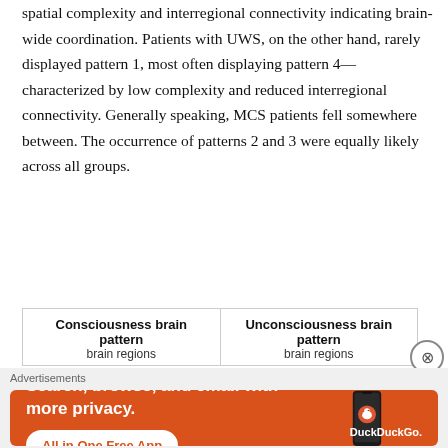spatial complexity and interregional connectivity indicating brain-wide coordination. Patients with UWS, on the other hand, rarely displayed pattern 1, most often displaying pattern 4—characterized by low complexity and reduced interregional connectivity. Generally speaking, MCS patients fell somewhere between. The occurrence of patterns 2 and 3 were equally likely across all groups.
| Consciousness brain pattern
brain regions | Unconsciousness brain pattern
brain regions |
| --- | --- |
Advertisements
[Figure (other): DuckDuckGo advertisement banner: 'Search, browse, and email with more privacy. All in One Free App' on orange background with phone mockup showing DuckDuckGo logo.]